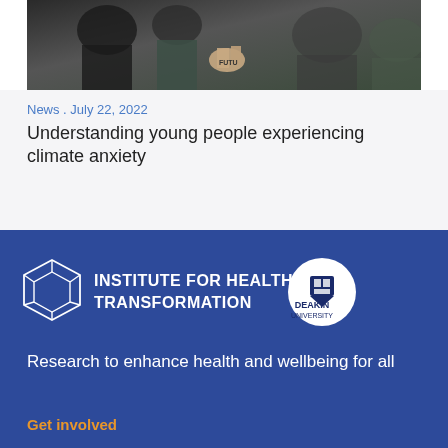[Figure (photo): Close-up photo of young people at what appears to be a protest or demonstration, with one person's hand visible with writing on it.]
News . July 22, 2022
Understanding young people experiencing climate anxiety
[Figure (logo): Institute for Health Transformation logo with cube graphic and Deakin University circle logo]
Research to enhance health and wellbeing for all
Get involved